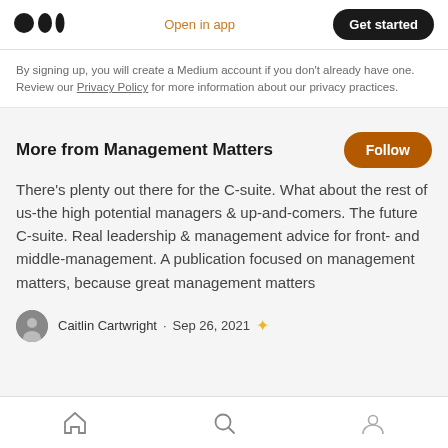Medium logo | Open in app | Get started
By signing up, you will create a Medium account if you don't already have one. Review our Privacy Policy for more information about our privacy practices.
More from Management Matters
There's plenty out there for the C-suite. What about the rest of us-the high potential managers & up-and-comers. The future C-suite. Real leadership & management advice for front- and middle-management. A publication focused on management matters, because great management matters
Caitlin Cartwright · Sep 26, 2021
Home | Search | Profile